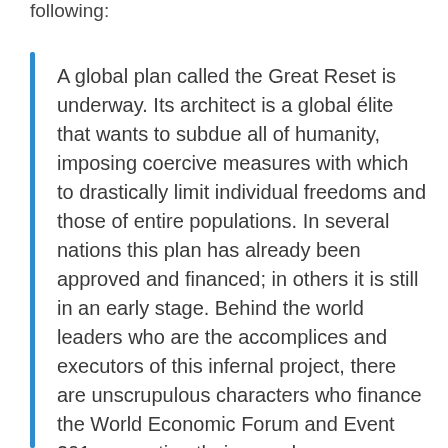following:
A global plan called the Great Reset is underway. Its architect is a global élite that wants to subdue all of humanity, imposing coercive measures with which to drastically limit individual freedoms and those of entire populations. In several nations this plan has already been approved and financed; in others it is still in an early stage. Behind the world leaders who are the accomplices and executors of this infernal project, there are unscrupulous characters who finance the World Economic Forum and Event 201, promoting their agenda….